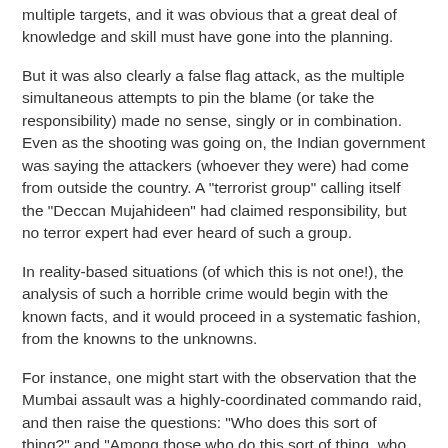multiple targets, and it was obvious that a great deal of knowledge and skill must have gone into the planning.
But it was also clearly a false flag attack, as the multiple simultaneous attempts to pin the blame (or take the responsibility) made no sense, singly or in combination. Even as the shooting was going on, the Indian government was saying the attackers (whoever they were) had come from outside the country. A "terrorist group" calling itself the "Deccan Mujahideen" had claimed responsibility, but no terror expert had ever heard of such a group.
In reality-based situations (of which this is not one!), the analysis of such a horrible crime would begin with the known facts, and it would proceed in a systematic fashion, from the knowns to the unknowns.
For instance, one might start with the observation that the Mumbai assault was a highly-coordinated commando raid, and then raise the questions: "Who does this sort of thing?" and "Among those who do this sort of thing, who had something to gain by doing this?"